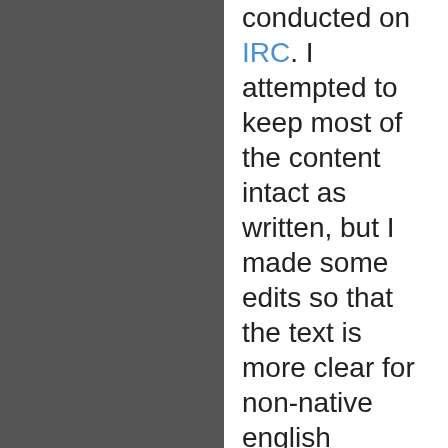This interview was conducted on IRC. I attempted to keep most of the content intact as written, but I made some edits so that the text is more clear for non-native english readers. If you have questions, please leave a comment and I will clarify and/or edit that section.
Click through for the full